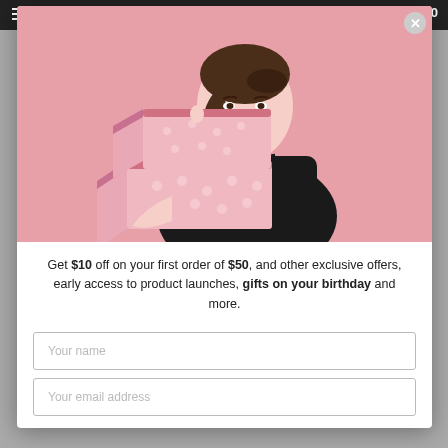[Figure (photo): Woman in black dress holding stacked pink gift boxes, posing against a pink background]
Get $10 off on your first order of $50, and other exclusive offers, early access to product launches, gifts on your birthday and more.
Your name
Your email address